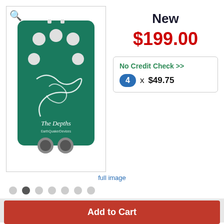[Figure (photo): EarthQuaker Devices 'The Depths' guitar effect pedal in green with white knobs and decorative sea creature artwork]
full image
New
$199.00
No Credit Check >>
4  x  $49.75
Easy Payment Plans, No Interest (Ever) »
FREE 2-Day Shipping!
Get it by Tue., Sep. 6 if you order within 23 hrs. 12 min.
Faster Shipping
Shipping to 20149 (Ashburn)
Add to Cart